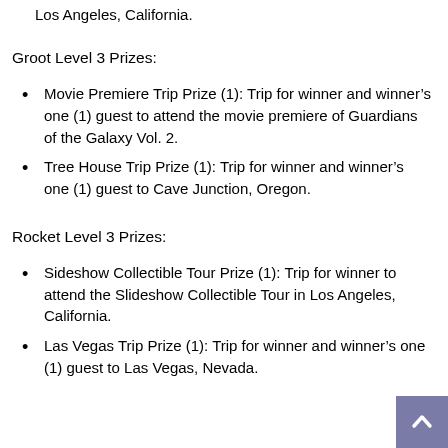Los Angeles, California.
Groot Level 3 Prizes:
Movie Premiere Trip Prize (1): Trip for winner and winner’s one (1) guest to attend the movie premiere of Guardians of the Galaxy Vol. 2.
Tree House Trip Prize (1): Trip for winner and winner’s one (1) guest to Cave Junction, Oregon.
Rocket Level 3 Prizes:
Sideshow Collectible Tour Prize (1): Trip for winner to attend the Slideshow Collectible Tour in Los Angeles, California.
Las Vegas Trip Prize (1): Trip for winner and winner’s one (1) guest to Las Vegas, Nevada.